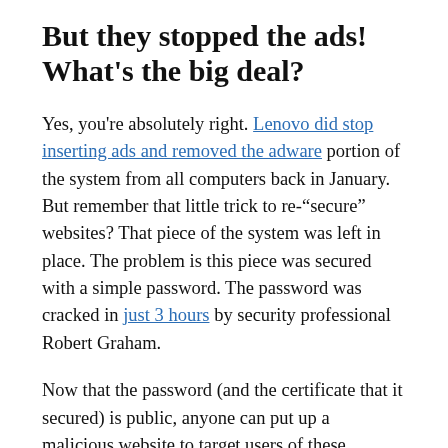But they stopped the ads! What's the big deal?
Yes, you're absolutely right. Lenovo did stop inserting ads and removed the adware portion of the system from all computers back in January. But remember that little trick to re-"secure" websites? That piece of the system was left in place. The problem is this piece was secured with a simple password. The password was cracked in just 3 hours by security professional Robert Graham.
Now that the password (and the certificate that it secured) is public, anyone can put up a malicious website to target users of these Lenovo laptops. So they deleted part that made it...